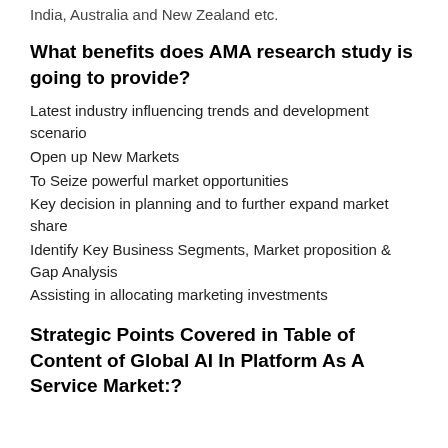India, Australia and New Zealand etc.
What benefits does AMA research study is going to provide?
Latest industry influencing trends and development scenario
Open up New Markets
To Seize powerful market opportunities
Key decision in planning and to further expand market share
Identify Key Business Segments, Market proposition & Gap Analysis
Assisting in allocating marketing investments
Strategic Points Covered in Table of Content of Global AI In Platform As A Service Market:?